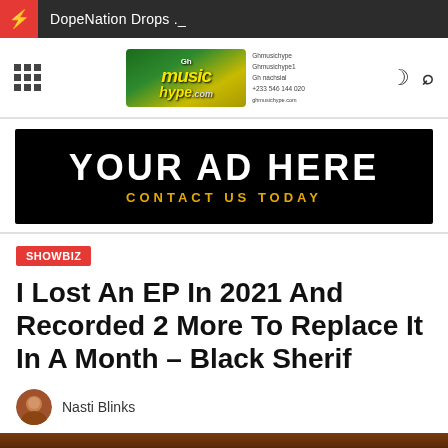DopeNation Drops ._
[Figure (logo): GhMusicHype.com logo with green and yellow gradient, with contact details]
[Figure (infographic): Black banner advertisement reading YOUR AD HERE - CONTACT US TODAY in white and gold text]
SHOWBIZ
I Lost An EP In 2021 And Recorded 2 More To Replace It In A Month – Black Sherif
Nasti Blinks